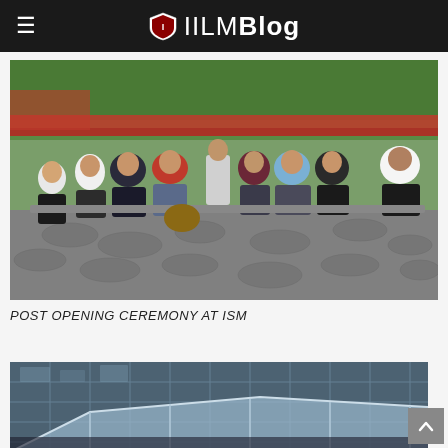IILM Blog
[Figure (photo): Group of young students sitting outdoors on a paved terrace with red railings and green trees in the background, posing together for a photo.]
POST OPENING CEREMONY AT ISM
[Figure (photo): Modern glass building exterior with a large transparent canopy/roof structure, viewed from outside.]